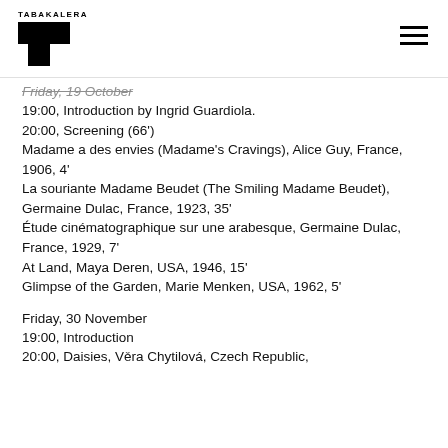TABAKALERA
Friday, 19 October
19:00, Introduction by Ingrid Guardiola.
20:00, Screening (66')
Madame a des envies (Madame's Cravings), Alice Guy, France, 1906, 4'
La souriante Madame Beudet (The Smiling Madame Beudet), Germaine Dulac, France, 1923, 35'
Étude cinématographique sur une arabesque, Germaine Dulac, France, 1929, 7'
At Land, Maya Deren, USA, 1946, 15'
Glimpse of the Garden, Marie Menken, USA, 1962, 5'
Friday, 30 November
19:00, Introduction
20:00, Daisies, Věra Chytilová, Czech Republic,